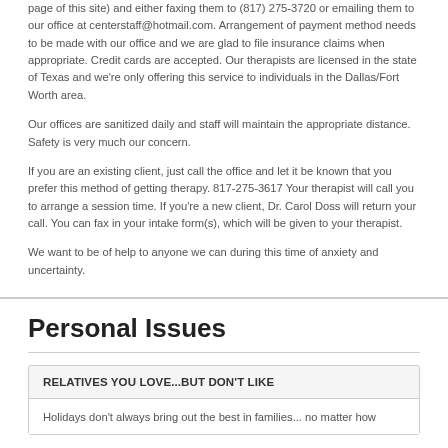page of this site) and either faxing them to (817) 275-3720 or emailing them to our office at centerstaff@hotmail.com. Arrangement of payment method needs to be made with our office and we are glad to file insurance claims when appropriate. Credit cards are accepted. Our therapists are licensed in the state of Texas and we're only offering this service to individuals in the Dallas/Fort Worth area.
Our offices are sanitized daily and staff will maintain the appropriate distance. Safety is very much our concern.
If you are an existing client, just call the office and let it be known that you prefer this method of getting therapy. 817-275-3617 Your therapist will call you to arrange a session time. If you're a new client, Dr. Carol Doss will return your call. You can fax in your intake form(s), which will be given to your therapist.
We want to be of help to anyone we can during this time of anxiety and uncertainty.
Personal Issues
RELATIVES YOU LOVE...BUT DON'T LIKE
Holidays don't always bring out the best in families... no matter how